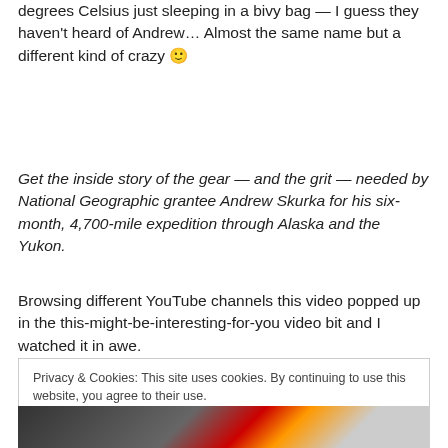degrees Celsius just sleeping in a bivy bag — I guess they haven't heard of Andrew… Almost the same name but a different kind of crazy 🙂
Get the inside story of the gear — and the grit — needed by National Geographic grantee Andrew Skurka for his six-month, 4,700-mile expedition through Alaska and the Yukon.
Browsing different YouTube channels this video popped up in the this-might-be-interesting-for-you video bit and I watched it in awe.
Privacy & Cookies: This site uses cookies. By continuing to use this website, you agree to their use.
To find out more, including how to control cookies, see here: Cookie Policy
[Figure (photo): Partial photo strip at bottom of page showing a person, partially visible]